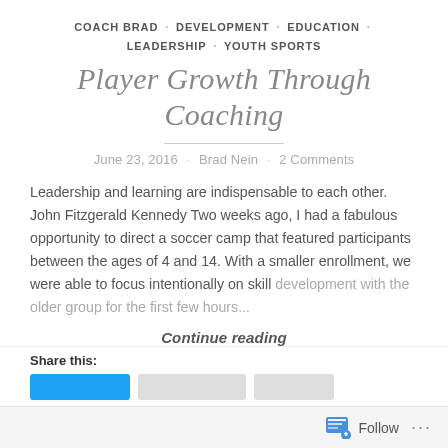COACH BRAD · DEVELOPMENT · EDUCATION · LEADERSHIP · YOUTH SPORTS
Player Growth Through Coaching
June 23, 2016 · Brad Nein · 2 Comments
Leadership and learning are indispensable to each other. John Fitzgerald Kennedy Two weeks ago, I had a fabulous opportunity to direct a soccer camp that featured participants between the ages of 4 and 14. With a smaller enrollment, we were able to focus intentionally on skill development with the older group for the first few hours...
Continue reading
Share this: